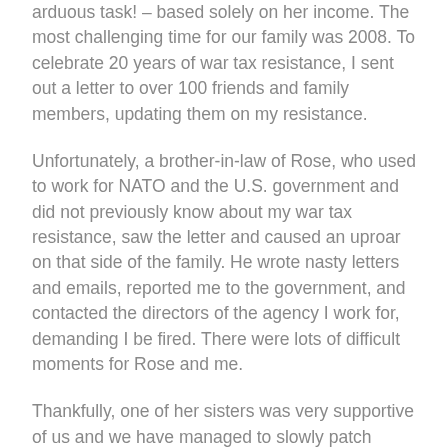arduous task! – based solely on her income. The most challenging time for our family was 2008. To celebrate 20 years of war tax resistance, I sent out a letter to over 100 friends and family members, updating them on my resistance.
Unfortunately, a brother-in-law of Rose, who used to work for NATO and the U.S. government and did not previously know about my war tax resistance, saw the letter and caused an uproar on that side of the family. He wrote nasty letters and emails, reported me to the government, and contacted the directors of the agency I work for, demanding I be fired. There were lots of difficult moments for Rose and me.
Thankfully, one of her sisters was very supportive of us and we have managed to slowly patch things up with the extended family through the years. Once people found out what the brother-in-law had done, he became